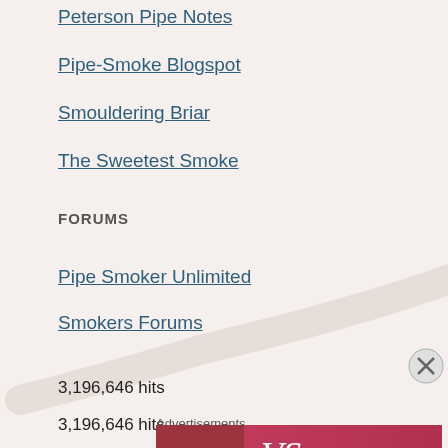Peterson Pipe Notes
Pipe-Smoke Blogspot
Smouldering Briar
The Sweetest Smoke
FORUMS
Pipe Smoker Unlimited
Smokers Forums
3,196,646 hits
Advertisements
[Figure (other): Victoria's Secret advertisement banner with model photo, VS logo, 'SHOP THE COLLECTION' text, and 'SHOP NOW' button]